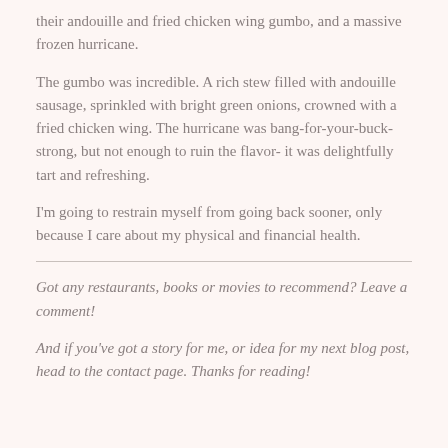their andouille and fried chicken wing gumbo, and a massive frozen hurricane.
The gumbo was incredible. A rich stew filled with andouille sausage, sprinkled with bright green onions, crowned with a fried chicken wing. The hurricane was bang-for-your-buck-strong, but not enough to ruin the flavor- it was delightfully tart and refreshing.
I'm going to restrain myself from going back sooner, only because I care about my physical and financial health.
Got any restaurants, books or movies to recommend? Leave a comment!
And if you've got a story for me, or idea for my next blog post, head to the contact page. Thanks for reading!